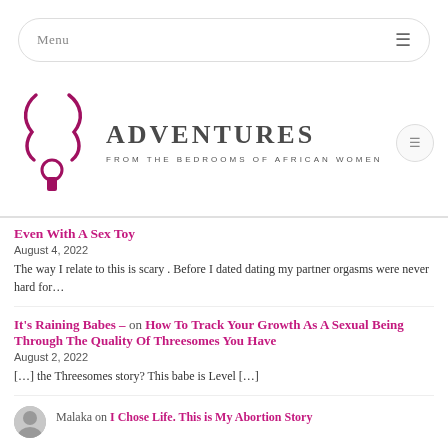Menu ☰
[Figure (logo): Adventures from the Bedrooms of African Women logo with decorative swirls and keyhole graphic]
Even With A Sex Toy
August 4, 2022
The way I relate to this is scary . Before I dated dating my partner orgasms were never hard for…
It's Raining Babes – on How To Track Your Growth As A Sexual Being Through The Quality Of Threesomes You Have
August 2, 2022
[…] the Threesomes story? This babe is Level […]
Malaka on I Chose Life. This is My Abortion Story